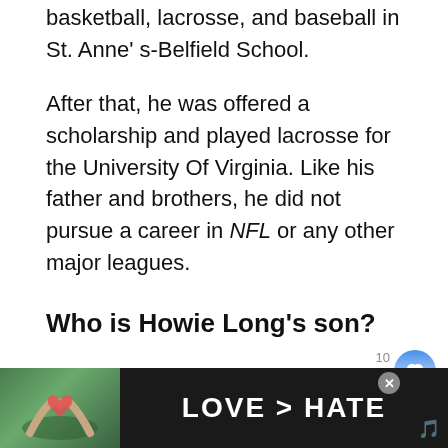basketball, lacrosse, and baseball in St. Anne's-Belfield School.
After that, he was offered a scholarship and played lacrosse for the University Of Virginia. Like his father and brothers, he did not pursue a career in NFL or any other major leagues.
Who is Howie Long's son?
NFL defensive end, analyst, and actor Howie Long has three sons, namely his firstborn Chris Long, who was born in 1985; his middle child Kyle Long who was born in 1988; and finally, his lastborn Howard Lo...
[Figure (photo): Advertisement banner at the bottom of the page showing a photo of hands forming a heart shape against a green/nature background, with text 'LOVE > HATE' in white bold letters on dark background. A close button (X) is visible.]